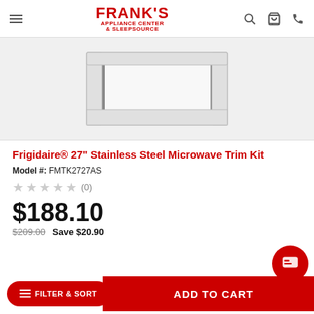Frank's Appliance Center & Sleepsource
[Figure (photo): Product photo of a stainless steel microwave trim kit frame, rectangular, shown against a light gray background]
Frigidaire® 27" Stainless Steel Microwave Trim Kit
Model #: FMTK2727AS
★★★★★ (0)
$188.10
$209.00  Save $20.90